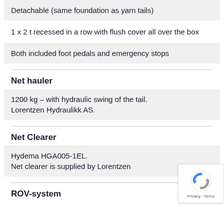Detachable (same foundation as yarn tails)
1 x 2 t recessed in a row with flush cover all over the box
Both included foot pedals and emergency stops
Net hauler
1200 kg – with hydraulic swing of the tail. Lorentzen Hydraulikk AS.
Net Clearer
Hydema HGA005-1EL.
Net clearer is supplied by Lorentzen
ROV-system